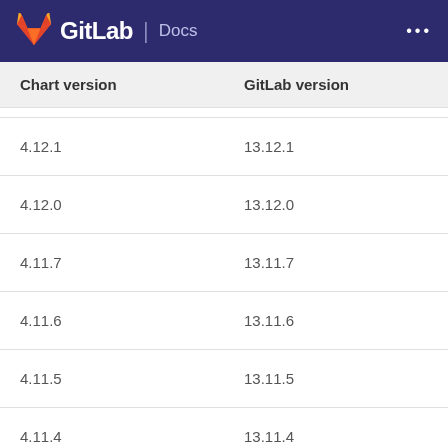GitLab Docs
| Chart version | GitLab version |
| --- | --- |
| 4.12.1 | 13.12.1 |
| 4.12.0 | 13.12.0 |
| 4.11.7 | 13.11.7 |
| 4.11.6 | 13.11.6 |
| 4.11.5 | 13.11.5 |
| 4.11.4 | 13.11.4 |
| 4.11.3 | 13.11.3 |